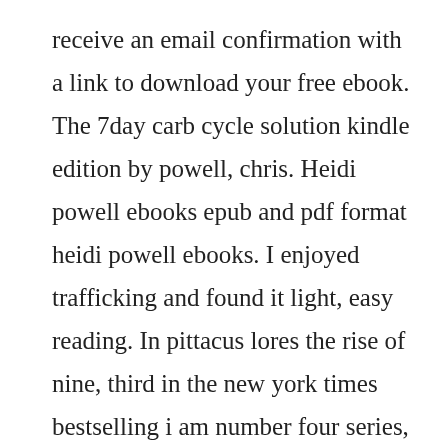receive an email confirmation with a link to download your free ebook. The 7day carb cycle solution kindle edition by powell, chris. Heidi powell ebooks epub and pdf format heidi powell ebooks. I enjoyed trafficking and found it light, easy reading. In pittacus lores the rise of nine, third in the new york times bestselling i am number four series, the stakes are higher than ever as john, six, and seven try desperately to find the rest of the garde before its too late. This program is not recommended for women who are pregnant or nursing. John